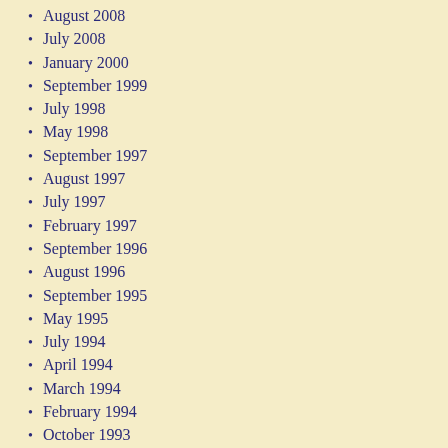August 2008
July 2008
January 2000
September 1999
July 1998
May 1998
September 1997
August 1997
July 1997
February 1997
September 1996
August 1996
September 1995
May 1995
July 1994
April 1994
March 1994
February 1994
October 1993
March 1992
May 1990
September 1988